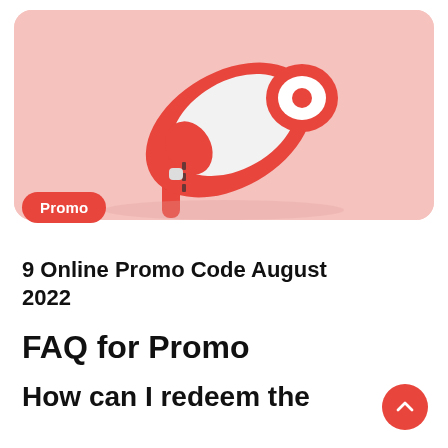[Figure (photo): Red and white megaphone/loudspeaker on a pink pastel background, angled diagonally]
Promo
9 Online Promo Code August 2022
FAQ for Promo
How can I redeem the